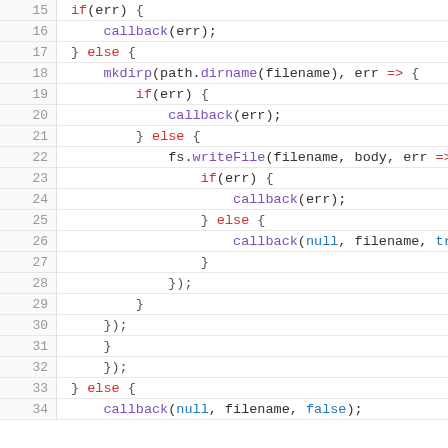[Figure (screenshot): Code editor screenshot showing JavaScript code lines 15-34, featuring nested if/else blocks with callback, mkdirp, and fs.writeFile function calls with syntax highlighting.]